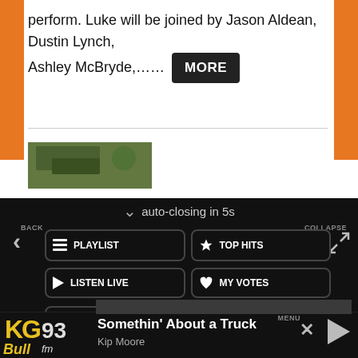perform. Luke will be joined by Jason Aldean, Dustin Lynch, Ashley McBryde,...... MORE
[Figure (screenshot): Thumbnail image of grass/outdoor scene]
[Figure (screenshot): Mobile app menu overlay on dark background showing: auto-closing in 5s, BACK button with left arrow, COLLAPSE button, PLAYLIST, TOP HITS, LISTEN LIVE, MY VOTES, CONTROLS menu buttons, Data opt-out toggle, and bottom player bar showing Somethin' About a Truck by Kip Moore with KG Bull 93fm logo]
auto-closing in 5s
BACK
COLLAPSE
PLAYLIST
TOP HITS
LISTEN LIVE
MY VOTES
CONTROLS
Data opt-out
Somethin' About a Truck
Kip Moore
MENU